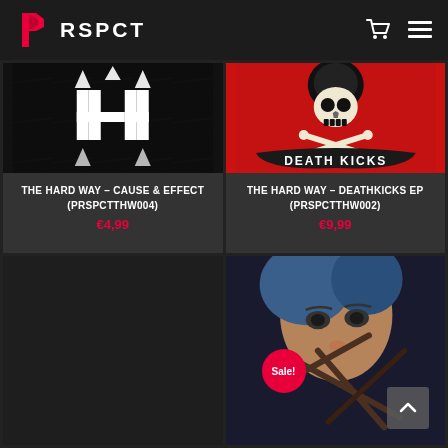[Figure (logo): PRSPCT logo - pink/red angular P icon followed by stylized RSPCT text in white on dark header bar]
[Figure (photo): Black album artwork with white ornate gothic HH symbol / logo - The Hard Way Cause & Effect release]
THE HARD WAY – CAUSE & EFFECT (PRSPCTTHW004)
€4,99
[Figure (photo): Red album artwork featuring a skull wearing a Darth Vader helmet with crossbones and banner reading DEATH KICKS]
THE HARD WAY – DEATHKICKS EP (PRSPCTTHW002)
€9,99
[Figure (photo): Mostly dark/empty bottom left product card]
[Figure (photo): Bottom right product card showing close-up of woman's face with blue hair and crossed sticks, with Sale! badge and back-to-top button]